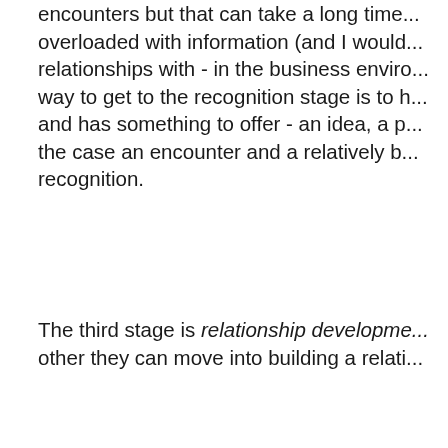encounters but that can take a long time... overloaded with information (and I would... relationships with - in the business enviro... way to get to the recognition stage is to h... and has something to offer - an idea, a p... the case an encounter and a relatively b... recognition.
The third stage is relationship developme... other they can move into building a relati... relationship there much be a joint initiativ... together (in the social world) or working c... there must be some reason to stay in tou... used to occasionally send funny Dilbert c... Plaxo update requests all the time but ne... relationships with the individuals in ques... haven't actually had an substantive intera... long time. Those activities are not neces... relationship.
The fourth stage is friendship. Friendshi... realm - represents a degree of trust abov... sight of this stage of a relationship in bus... wrapped up in getting to the end goal an... process - and depending on the project...